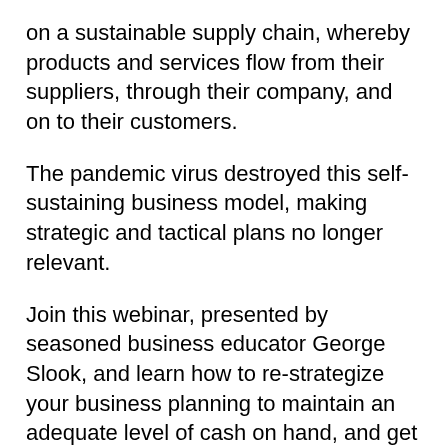on a sustainable supply chain, whereby products and services flow from their suppliers, through their company, and on to their customers.
The pandemic virus destroyed this self-sustaining business model, making strategic and tactical plans no longer relevant.
Join this webinar, presented by seasoned business educator George Slook, and learn how to re-strategize your business planning to maintain an adequate level of cash on hand, and get suppliers and vendors to make their payments when due.
Attendees will learn: